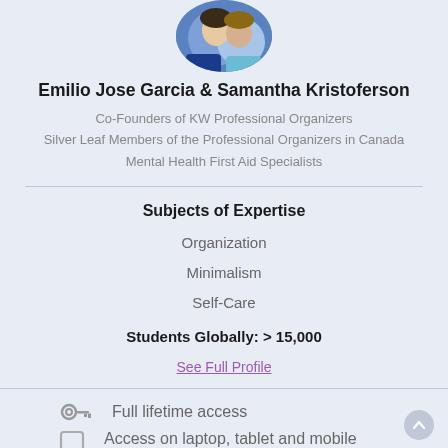[Figure (photo): Circular profile photo of Emilio Jose Garcia and Samantha Kristoferson, partially visible at top of page]
Emilio Jose Garcia & Samantha Kristoferson
Co-Founders of KW Professional Organizers
Silver Leaf Members of the Professional Organizers in Canada
Mental Health First Aid Specialists
Subjects of Expertise
Organization
Minimalism
Self-Care
Students Globally: > 15,000
See Full Profile
Full lifetime access
Access on laptop, tablet and mobile devices